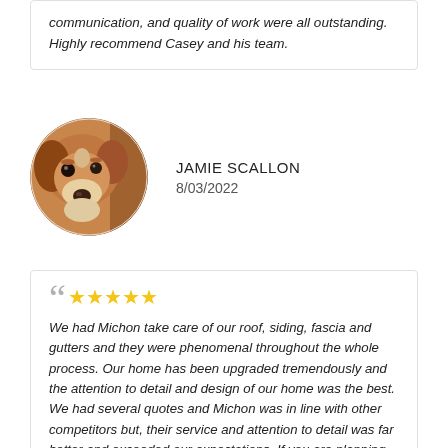communication, and quality of work were all outstanding. Highly recommend Casey and his team.
[Figure (photo): Circular avatar photo of a dog (beagle-type, brown and white), close-up of face]
JAMIE SCALLON
8/03/2022
We had Michon take care of our roof, siding, fascia and gutters and they were phenomenal throughout the whole process. Our home has been upgraded tremendously and the attention to detail and design of our home was the best. We had several quotes and Michon was in line with other competitors but, their service and attention to detail was far better and exceeded our expectations. If you are planning on a home renovation